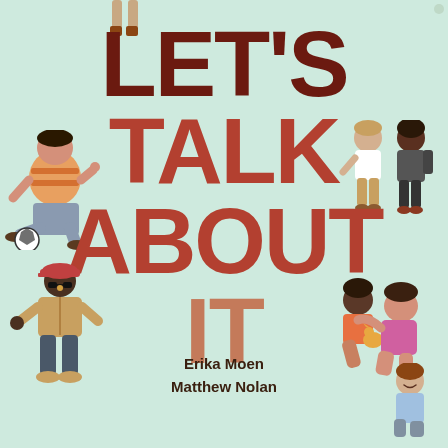[Figure (illustration): Book cover illustration with multiple cartoon teens/young adults around the title text on a mint green background. Top: legs/feet of a person. Left middle: a heavy-set person kicking a soccer ball. Right middle: two people walking together. Bottom left: a person in a jacket and jeans standing. Bottom right: two people sitting together, one resting on the other. Far bottom right: a seated person.]
LET'S TALK ABOUT IT
Erika Moen
Matthew Nolan